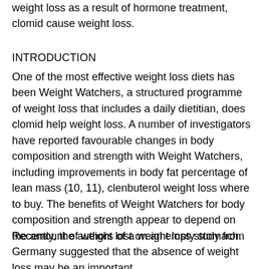weight loss as a result of hormone treatment, clomid cause weight loss.
INTRODUCTION
One of the most effective weight loss diets has been Weight Watchers, a structured programme of weight loss that includes a daily dietitian, does clomid help weight loss. A number of investigators have reported favourable changes in body composition and strength with Weight Watchers, including improvements in body fat percentage of lean mass (10, 11), clenbuterol weight loss where to buy. The benefits of Weight Watchers for body composition and strength appear to depend on the amount of weight lost on an empty stomach.
Recently, the authors of a weight loss study from Germany suggested that the absence of weight loss may be an important